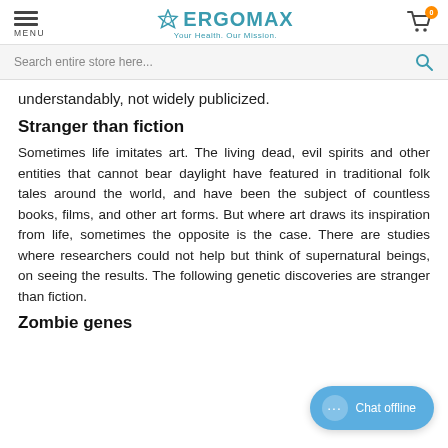MENU | ERGOMAX Your Health. Our Mission. | Cart (0)
Search entire store here...
understandably, not widely publicized.
Stranger than fiction
Sometimes life imitates art. The living dead, evil spirits and other entities that cannot bear daylight have featured in traditional folk tales around the world, and have been the subject of countless books, films, and other art forms. But where art draws its inspiration from life, sometimes the opposite is the case. There are studies where researchers could not help but think of supernatural beings, on seeing the results. The following genetic discoveries are stranger than fiction.
Zombie genes